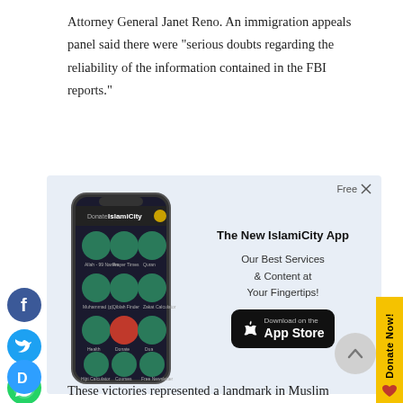Attorney General Janet Reno. An immigration appeals panel said there were "serious doubts regarding the reliability of the information contained in the FBI reports."
[Figure (screenshot): IslamiCity mobile app advertisement showing a smartphone with app icons and text: 'The New IslamiCity App – Our Best Services & Content at Your Fingertips!' with an App Store download button. Has a 'Free' close button in top right corner.]
These victories represented a landmark in Muslim American